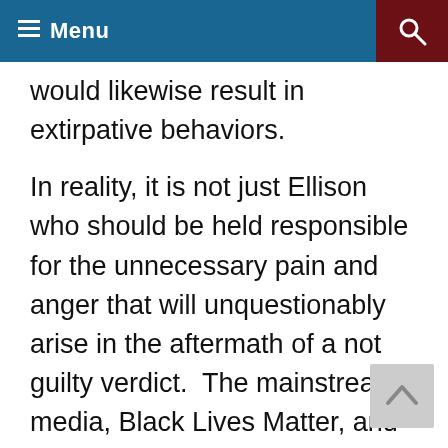Menu
would likewise result in extirpative behaviors.
In reality, it is not just Ellison who should be held responsible for the unnecessary pain and anger that will unquestionably arise in the aftermath of a not guilty verdict.  The mainstream media, Black Lives Matter, and every Democrat have capitalized on this